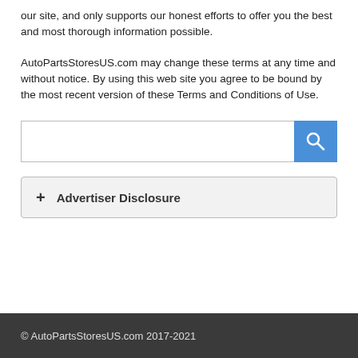our site, and only supports our honest efforts to offer you the best and most thorough information possible.
AutoPartsStoresUS.com may change these terms at any time and without notice. By using this web site you agree to be bound by the most recent version of these Terms and Conditions of Use.
[Figure (other): Search bar with text input field and blue search button with magnifying glass icon]
+ Advertiser Disclosure
© AutoPartsStoresUS.com 2017-2021